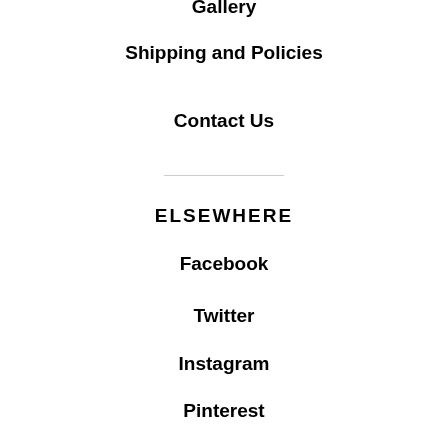Gallery
Shipping and Policies
Contact Us
ELSEWHERE
Facebook
Twitter
Instagram
Pinterest
FINE PRINT
All rights reserved